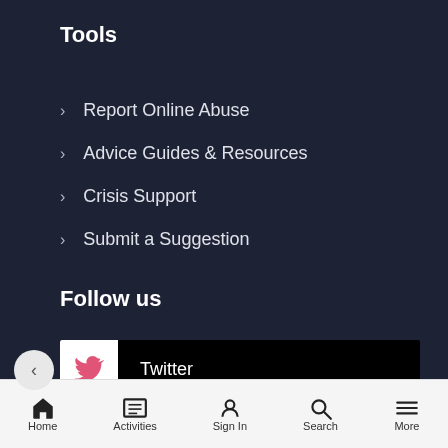Tools
Report Online Abuse
Advice Guides & Resources
Crisis Support
Submit a Suggestion
Follow us
[Figure (screenshot): Twitter social media link button with pink Twitter bird icon on white background, label 'Twitter' on black background]
[Figure (screenshot): Youtube social media link button with pink YouTube play icon on white background, label 'Youtube' on black background]
[Figure (screenshot): Instagram social media link button partially visible, showing pink Instagram icon on white background and label 'Instagram']
Home   Activities   Sign In   Search   More